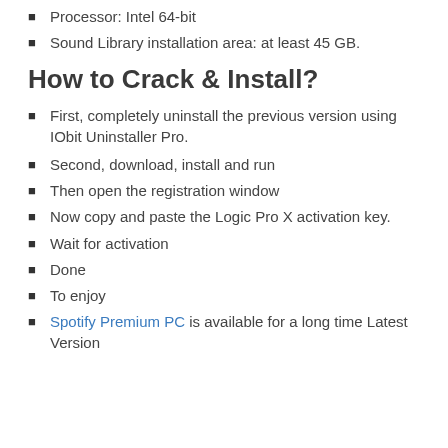Processor: Intel 64-bit
Sound Library installation area: at least 45 GB.
How to Crack & Install?
First, completely uninstall the previous version using IObit Uninstaller Pro.
Second, download, install and run
Then open the registration window
Now copy and paste the Logic Pro X activation key.
Wait for activation
Done
To enjoy
Spotify Premium PC is available for a long time Latest Version